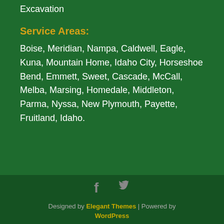Excavation
Service Areas:
Boise, Meridian, Nampa, Caldwell, Eagle, Kuna, Mountain Home, Idaho City, Horseshoe Bend, Emmett, Sweet, Cascade, McCall, Melba, Marsing, Homedale, Middleton, Parma, Nyssa, New Plymouth, Payette, Fruitland, Idaho.
[Figure (illustration): Social media icons: Facebook (f) and Twitter (bird) in gray]
Designed by Elegant Themes | Powered by WordPress